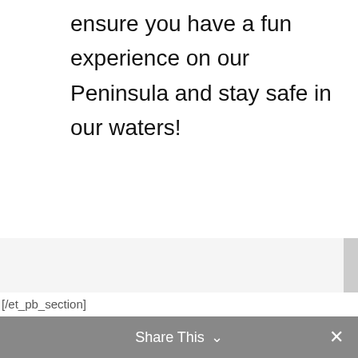ensure you have a fun experience on our Peninsula and stay safe in our waters!
[/et_pb_section]
Share This ∨  ✕